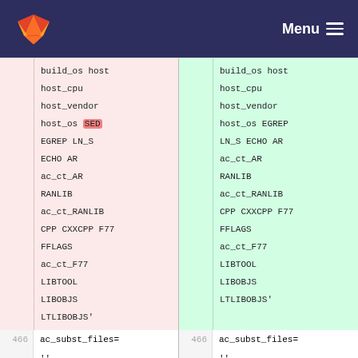GitLab Menu
[Figure (screenshot): Code diff view showing two columns (removed left in pink, added right in green) with line numbers. Lines include: build_os host, host_cpu, host_vendor, host_os SED (highlighted in red on left) / host_os EGREP (on right), EGREP LN_S / LN_S ECHO AR, ECHO AR / ac_ct_AR, ac_ct_AR / RANLIB, RANLIB / ac_ct_RANLIB, ac_ct_RANLIB / CPP CXXCPP F77, CPP CXXCPP F77 / FFLAGS, FFLAGS / ac_ct_F77, ac_ct_F77 / LIBTOOL, LIBTOOL / LIBOBJS, LIBOBJS / LTLIBOBJS', LTLIBOBJS'. Line 466: ac_subst_files= '' on both sides. Line 467: empty. Line 468: # Initialize some variables on both sides.]